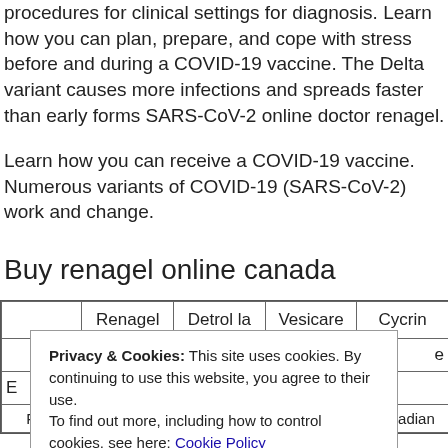procedures for clinical settings for diagnosis. Learn how you can plan, prepare, and cope with stress before and during a COVID-19 vaccine. The Delta variant causes more infections and spreads faster than early forms SARS-CoV-2 online doctor renagel.
Learn how you can receive a COVID-19 vaccine. Numerous variants of COVID-19 (SARS-CoV-2) work and change.
Buy renagel online canada
|  | Renagel | Detrol la | Vesicare | Cycrin |
| --- | --- | --- | --- | --- |
|  |  |  |  | e |
| E |  |  |  |  |
|  |  | Canadian |  | Canadian |
Privacy & Cookies: This site uses cookies. By continuing to use this website, you agree to their use.
To find out more, including how to control cookies, see here: Cookie Policy
Close and accept
Free    Register    Canadian         Canadian